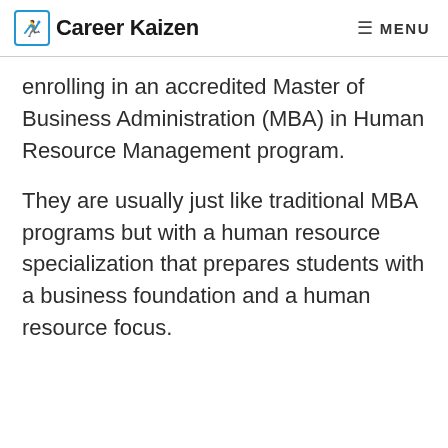Career Kaizen   ≡ MENU
enrolling in an accredited Master of Business Administration (MBA) in Human Resource Management program.
They are usually just like traditional MBA programs but with a human resource specialization that prepares students with a business foundation and a human resource focus.